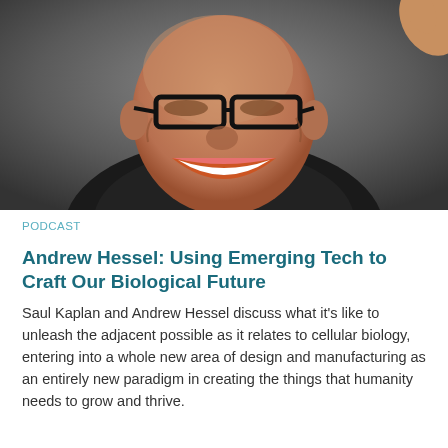[Figure (photo): A laughing bald man with dark-rimmed glasses, mouth wide open, photographed from below against a grey background. A hand/finger is visible in the upper right corner.]
PODCAST
Andrew Hessel: Using Emerging Tech to Craft Our Biological Future
Saul Kaplan and Andrew Hessel discuss what it's like to unleash the adjacent possible as it relates to cellular biology, entering into a whole new area of design and manufacturing as an entirely new paradigm in creating the things that humanity needs to grow and thrive.